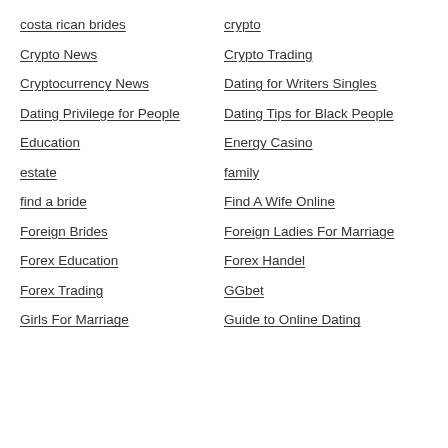costa rican brides
crypto
Crypto News
Crypto Trading
Cryptocurrency News
Dating for Writers Singles
Dating Privilege for People
Dating Tips for Black People
Education
Energy Casino
estate
family
find a bride
Find A Wife Online
Foreign Brides
Foreign Ladies For Marriage
Forex Education
Forex Handel
Forex Trading
GGbet
Girls For Marriage
Guide to Online Dating